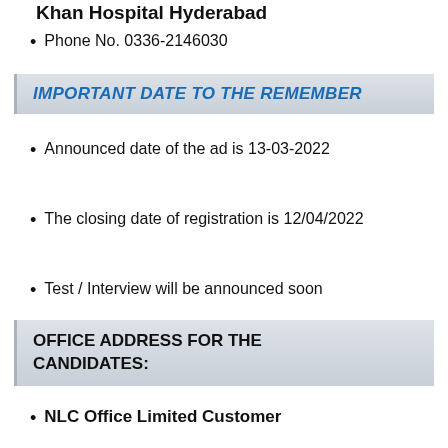Khan Hospital Hyderabad
Phone No. 0336-2146030
IMPORTANT DATE TO THE REMEMBER
Announced date of the ad is 13-03-2022
The closing date of registration is 12/04/2022
Test / Interview will be announced soon
OFFICE ADDRESS FOR THE CANDIDATES:
NLC Office Limited Customer